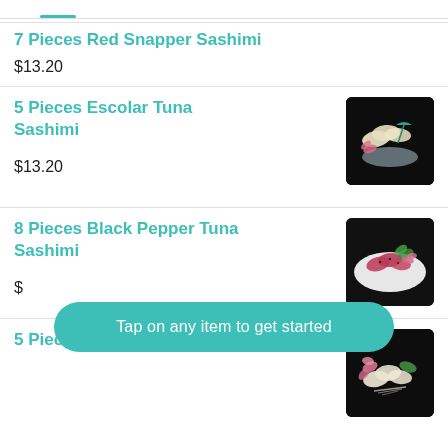7 Pieces Red Snapper Sashimi
$13.20
5 Pieces Escolar Tuna Sashimi
$13.20
[Figure (photo): Photo of escolar tuna sashimi slices garnished with a flower in a martini glass]
8 Pieces Black Pepper Tuna Sashimi
$
[Figure (photo): Photo of black pepper tuna sashimi with pink flower garnish on a white plate]
Tap on any item to get started
5 Pieces Yellowtail Sashimi
[Figure (photo): Photo of yellowtail sashimi with pink flower garnish]